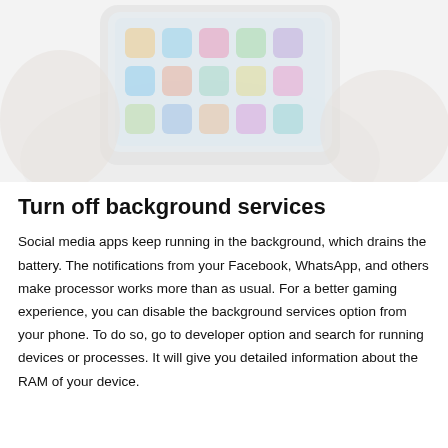[Figure (photo): A person holding a smartphone with colorful app icons displayed on the screen, faded/washed out appearance against a light gray background.]
Turn off background services
Social media apps keep running in the background, which drains the battery. The notifications from your Facebook, WhatsApp, and others make processor works more than as usual. For a better gaming experience, you can disable the background services option from your phone. To do so, go to developer option and search for running devices or processes. It will give you detailed information about the RAM of your device.